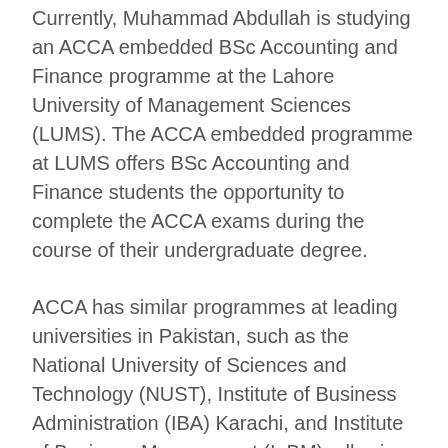Currently, Muhammad Abdullah is studying an ACCA embedded BSc Accounting and Finance programme at the Lahore University of Management Sciences (LUMS). The ACCA embedded programme at LUMS offers BSc Accounting and Finance students the opportunity to complete the ACCA exams during the course of their undergraduate degree.
ACCA has similar programmes at leading universities in Pakistan, such as the National University of Sciences and Technology (NUST), Institute of Business Administration (IBA) Karachi, and Institute of Business Management (IoBM), allowing students to gain two qualifications at the same, i.e. university degree and ACCA's professional qualification.
Discussing the disruption caused by Covid-19, Abdullah said, 'Quarantine period due to Covid-19 gave me time to